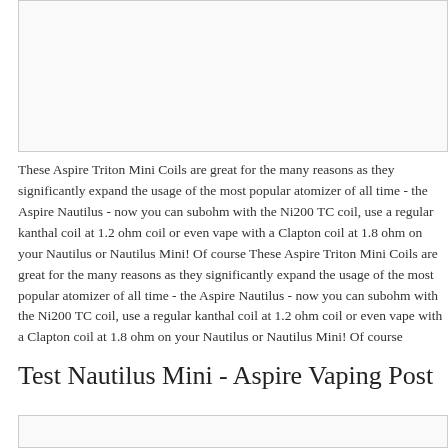[Figure (photo): Image placeholder at top of page]
These Aspire Triton Mini Coils are great for the many reasons as they significantly expand the usage of the most popular atomizer of all time - the Aspire Nautilus - now you can subohm with the Ni200 TC coil, use a regular kanthal coil at 1.2 ohm coil or even vape with a Clapton coil at 1.8 ohm on your Nautilus or Nautilus Mini! Of course These Aspire Triton Mini Coils are great for the many reasons as they significantly expand the usage of the most popular atomizer of all time - the Aspire Nautilus - now you can subohm with the Ni200 TC coil, use a regular kanthal coil at 1.2 ohm coil or even vape with a Clapton coil at 1.8 ohm on your Nautilus or Nautilus Mini! Of course
Test Nautilus Mini - Aspire Vaping Post
[Figure (photo): Image placeholder at bottom of page]